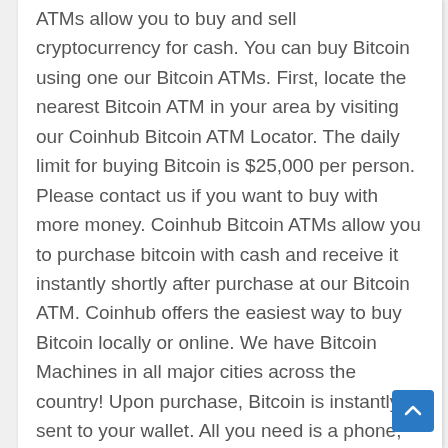ATMs allow you to buy and sell cryptocurrency for cash. You can buy Bitcoin using one our Bitcoin ATMs. First, locate the nearest Bitcoin ATM in your area by visiting our Coinhub Bitcoin ATM Locator. The daily limit for buying Bitcoin is $25,000 per person. Please contact us if you want to buy with more money. Coinhub Bitcoin ATMs allow you to purchase bitcoin with cash and receive it instantly shortly after purchase at our Bitcoin ATM. Coinhub offers the easiest way to buy Bitcoin locally or online. We have Bitcoin Machines in all major cities across the country! Upon purchase, Bitcoin is instantly sent to your wallet. All you need is a phone, cash, and ID for purchases greater than $2,000. You can finish a transaction in less than two minutes!
This Coinhub Bitcoin ATM is located within Check Cashing at 24525 Alessandro Boulevard Unit C,